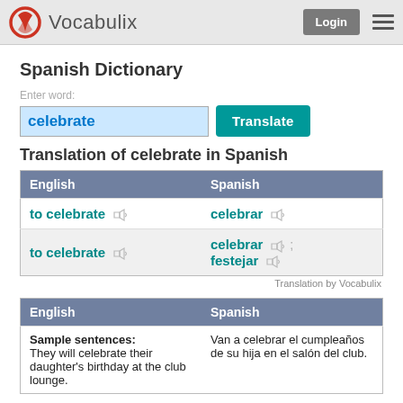Vocabulix
Spanish Dictionary
Enter word:
celebrate
Translation of celebrate in Spanish
| English | Spanish |
| --- | --- |
| to celebrate | celebrar |
| to celebrate | celebrar ; festejar |
Translation by Vocabulix
| English | Spanish |
| --- | --- |
| Sample sentences:
They will celebrate their daughter's birthday at the club lounge. | Van a celebrar el cumpleaños de su hija en el salón del club. |